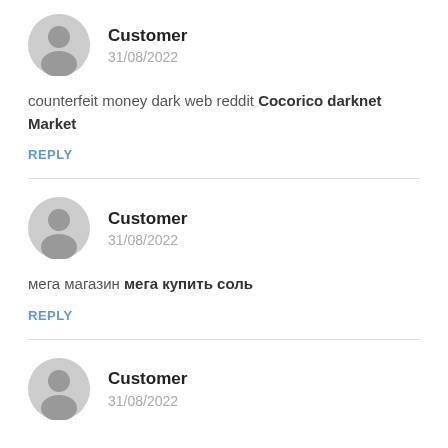[Figure (illustration): Gray avatar icon (person silhouette)]
Customer
31/08/2022
counterfeit money dark web reddit Cocorico darknet Market
REPLY
[Figure (illustration): Gray avatar icon (person silhouette)]
Customer
31/08/2022
мега магазин мега купить соль
REPLY
[Figure (illustration): Gray avatar icon (person silhouette)]
Customer
31/08/2022